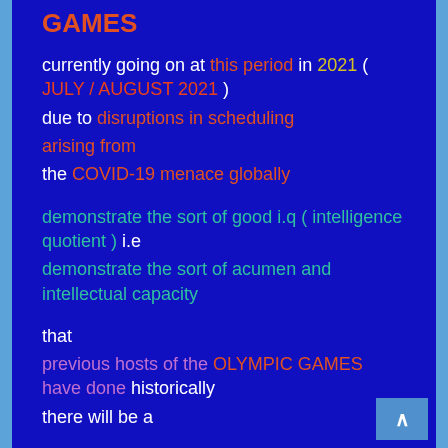GAMES
currently going on at this period in 2021 ( JULY / AUGUST 2021 )
due to disruptions in scheduling arising from
the COVID-19 menace globally
demonstrate the sort of good i.q ( intelligence quotient ) i.e demonstrate the sort of acumen and intellectual capacity
that
previous hosts of the OLYMPIC GAMES have done historically
there will be a